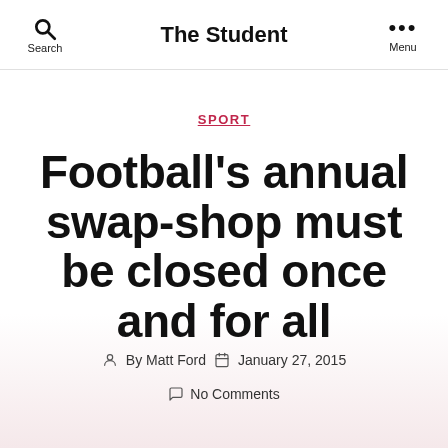The Student
SPORT
Football's annual swap-shop must be closed once and for all
By Matt Ford  January 27, 2015
No Comments